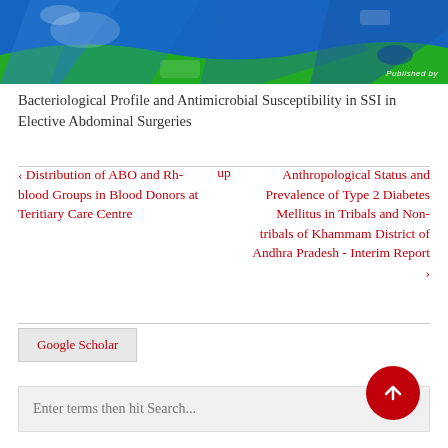[Figure (photo): Blue and green banner image with abstract shapes, showing a 'Published by' text in the lower right corner.]
Bacteriological Profile and Antimicrobial Susceptibility in SSI in Elective Abdominal Surgeries
‹ Distribution of ABO and Rh-blood Groups in Blood Donors at Teritiary Care Centre
up
Anthropological Status and Prevalence of Type 2 Diabetes Mellitus in Tribals and Non-tribals of Khammam District of Andhra Pradesh - Interim Report ›
Google Scholar
Enter terms then hit Search...